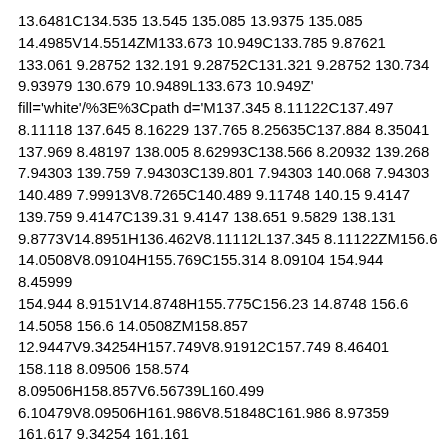13.6481C134.535 13.545 135.085 13.9375 135.085 14.4985V14.5514ZM133.673 10.949C133.785 9.87621 133.061 9.28752 132.191 9.28752C131.321 9.28752 130.734 9.93979 130.679 10.9489L133.673 10.949Z' fill='white'/%3E%3Cpath d='M137.345 8.11122C137.497 8.11118 137.645 8.16229 137.765 8.25635C137.884 8.35041 137.969 8.48197 138.005 8.62993C138.566 8.20932 139.268 7.94303 139.759 7.94303C139.801 7.94303 140.068 7.94303 140.489 7.99913V8.7265C140.489 9.11748 140.15 9.4147 139.759 9.4147C139.31 9.4147 138.651 9.5829 138.131 9.8773V14.8951H136.462V8.11112L137.345 8.11122ZM156.6 14.0508V8.09104H155.769C155.314 8.09104 154.944 8.45999 154.944 8.9151V14.8748H155.775C156.23 14.8748 156.6 14.5058 156.6 14.0508ZM158.857 12.9447V9.34254H157.749V8.91912C157.749 8.46401 158.118 8.09506 158.574 8.09506H158.857V6.56739L160.499 6.10479V8.09506H161.986V8.51848C161.986 8.97359 161.617 9.34254 161.161 9.34254H160.499V12.7345C160.499